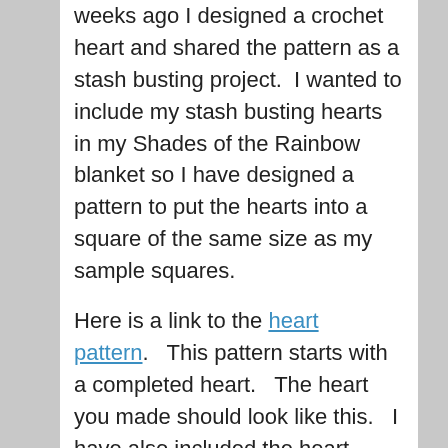weeks ago I designed a crochet heart and shared the pattern as a stash busting project.  I wanted to include my stash busting hearts in my Shades of the Rainbow blanket so I have designed a pattern to put the hearts into a square of the same size as my sample squares.
Here is a link to the heart pattern.   This pattern starts with a completed heart.   The heart you made should look like this.   I have also included the heart pattern again at the bottom of this post.
Please enter your Email address to join my